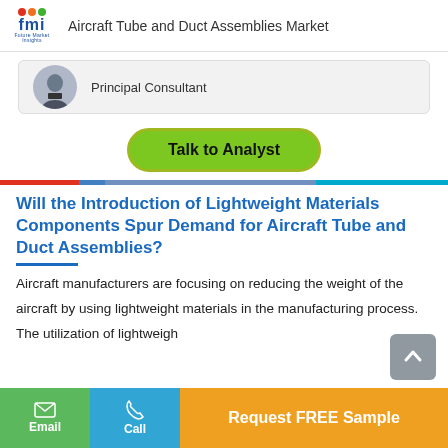Aircraft Tube and Duct Assemblies Market
Principal Consultant
Talk to Analyst
Will the Introduction of Lightweight Materials Components Spur Demand for Aircraft Tube and Duct Assemblies?
Aircraft manufacturers are focusing on reducing the weight of the aircraft by using lightweight materials in the manufacturing process. The utilization of lightweigh
Email
Call
Request FREE Sample